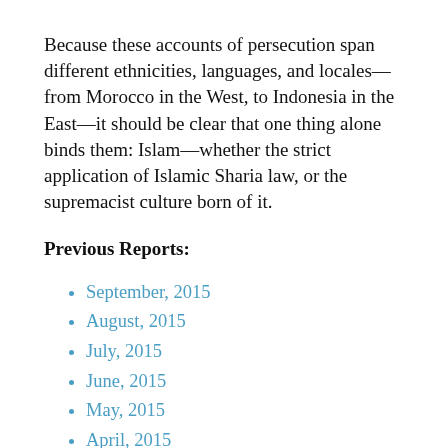Because these accounts of persecution span different ethnicities, languages, and locales—from Morocco in the West, to Indonesia in the East—it should be clear that one thing alone binds them: Islam—whether the strict application of Islamic Sharia law, or the supremacist culture born of it.
Previous Reports:
September, 2015
August, 2015
July, 2015
June, 2015
May, 2015
April, 2015
March, 2015